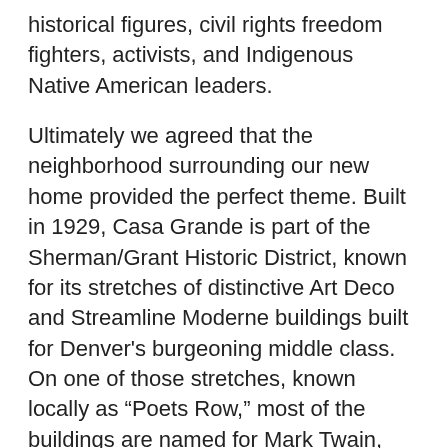historical figures, civil rights freedom fighters, activists, and Indigenous Native American leaders.
Ultimately we agreed that the neighborhood surrounding our new home provided the perfect theme. Built in 1929, Casa Grande is part of the Sherman/Grant Historic District, known for its stretches of distinctive Art Deco and Streamline Moderne buildings built for Denver's burgeoning middle class. On one of those stretches, known locally as "Poets Row," most of the buildings are named for Mark Twain, Louisa May Alcott, Thomas Carlyle, Emily Dickinson and other traditional literary giants.
We elected to embrace the spirit of the district by naming rooms in Casa Grande for contemporary poets in Colorado. Our goal was to honor the legacy and living history of poetry in Colorado while celebrating poets who embody The Denver Foundation's vision of a creative and inclusive future. All of the buildings on